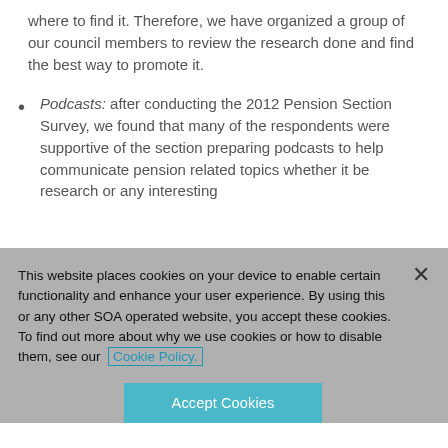where to find it. Therefore, we have organized a group of our council members to review the research done and find the best way to promote it.
Podcasts: after conducting the 2012 Pension Section Survey, we found that many of the respondents were supportive of the section preparing podcasts to help communicate pension related topics whether it be research or any interesting
This website places cookies on your device to enable certain functionality and enhance your user experience. By using this or any other SOA operated website, you accept these cookies. To find out more about why we use cookies or how to disable them, see our Cookie Policy.
Accept Cookies